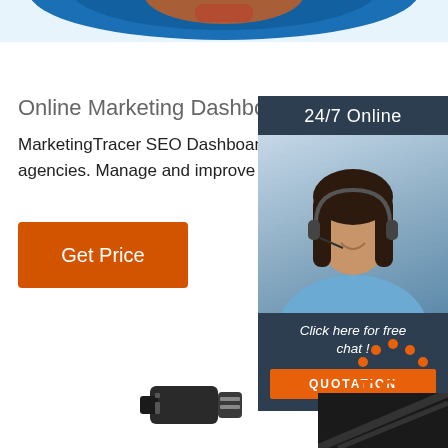[Figure (illustration): Blue curved banner/arc shape at top of page]
Online Marketing Dashboard
MarketingTracer SEO Dashboard, created for webmasters and agencies. Manage and improve your online marketing
[Figure (illustration): Orange 'Get Price' button]
[Figure (illustration): Dark sidebar widget with '24/7 Online' header, photo of woman with headset, 'Click here for free chat!' text, and orange QUOTATION button]
[Figure (logo): TOP logo with orange dots forming arch above orange TOP text]
[Figure (photo): Bottom area with USB device and dark corner element]